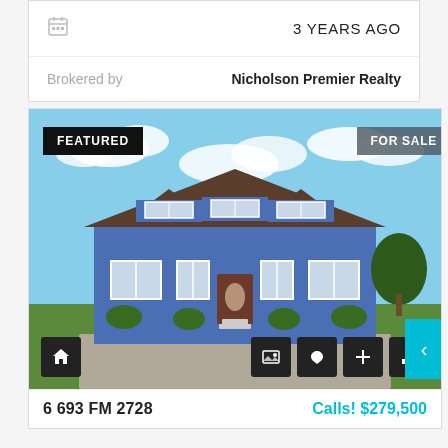3 YEARS AGO
Brokered by    Nicholson Premier Realty
[Figure (photo): Exterior photo of a blue two-story house with brown dormer roof, white-trimmed windows, front door with oval window, green lawn, and gravel driveway. Badges: FEATURED (top-left), FOR SALE (top-right). Navigation arrow tab on right side (teal). Bottom icon bar with home icon (left) and image/heart/plus/bar-chart icons (right).]
6 693 FM 2728    Calls! $279,500